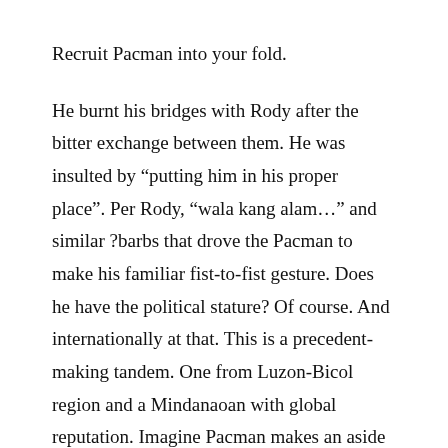Recruit Pacman into your fold.
He burnt his bridges with Rody after the bitter exchange between them. He was insulted by “putting him in his proper place”. Per Rody, “wala kang alam…” and similar ?barbs that drove the Pacman to make his familiar fist-to-fist gesture. Does he have the political stature? Of course. And internationally at that. This is a precedent-making tandem. One from Luzon-Bicol region and a Mindanaoan with global reputation. Imagine Pacman makes an aside like, “Diko naman panatulan